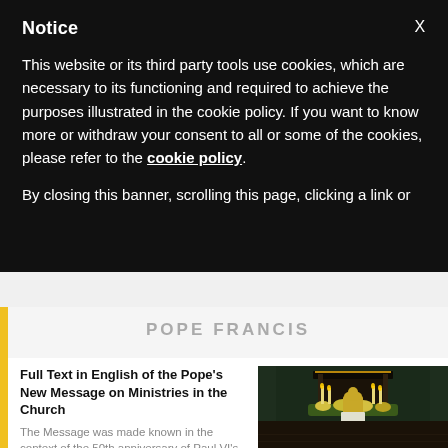Notice
This website or its third party tools use cookies, which are necessary to its functioning and required to achieve the purposes illustrated in the cookie policy. If you want to know more or withdraw your consent to all or some of the cookies, please refer to the cookie policy.
By closing this banner, scrolling this page, clicking a link or
POPE FRANCIS
Full Text in English of the Pope's New Message on Ministries in the Church
The Message was made known in the context of the 50th anniversary of Paul VI's Apostolic Letter
[Figure (photo): Photo of a church interior showing clergy kneeling at an altar with candles and floral arrangements]